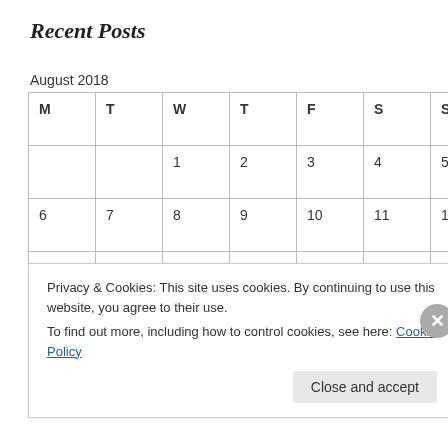Recent Posts
August 2018
| M | T | W | T | F | S | S |
| --- | --- | --- | --- | --- | --- | --- |
|  |  | 1 | 2 | 3 | 4 | 5 |
| 6 | 7 | 8 | 9 | 10 | 11 | 12 |
| 13 | 14 | 15 | 16 | 17 | 18 | 19 |
| 20 | 21 | 22 | 23 | 24 | 25 | 26 |
|  |  |  |  |  |  |  |
Privacy & Cookies: This site uses cookies. By continuing to use this website, you agree to their use.
To find out more, including how to control cookies, see here: Cookie Policy